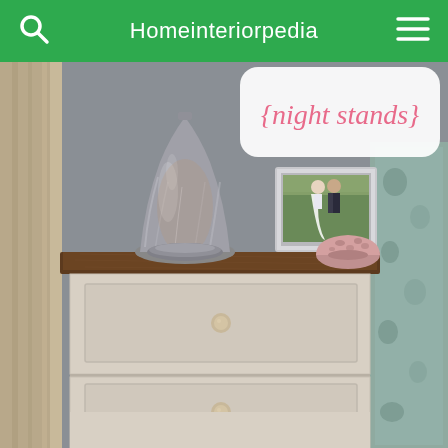Homeinteriorpedia
[Figure (photo): A bedroom nightstand with a dark wood top surface and cream/white painted drawers with round knobs. On top sits a tall metallic silver mercury glass lamp, a silver-framed wedding photo, and a small decorative pink floral bowl. The nightstand has three drawers visible. In the background are gray walls, curtains, and floral patterned bedding. The top portion of the image has a white rounded rectangle with pink cursive text reading '{night stands}'.]